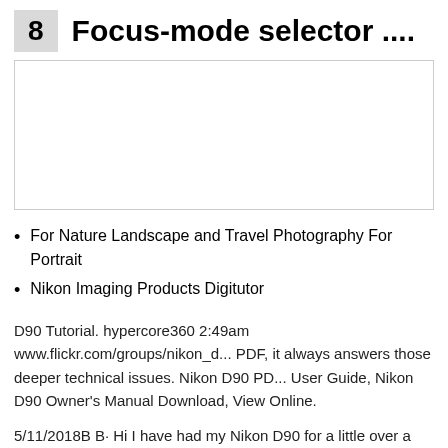8  Focus-mode selector....
[Figure (photo): Image placeholder area for focus-mode selector illustration]
For Nature Landscape and Travel Photography For Portrait
Nikon Imaging Products Digitutor
D90 Tutorial. hypercore360 2:49am www.flickr.com/groups/nikon_d... PDF, it always answers those deeper technical issues. Nikon D90 PD... User Guide, Nikon D90 Owner's Manual Download, View Online.
5/11/2018B B· Hi I have had my Nikon D90 for a little over a year a... settings and I know most of the basics but I am looking for some goo... User Manual, User Guide, Instructions Download, Nikon D90 Owne...